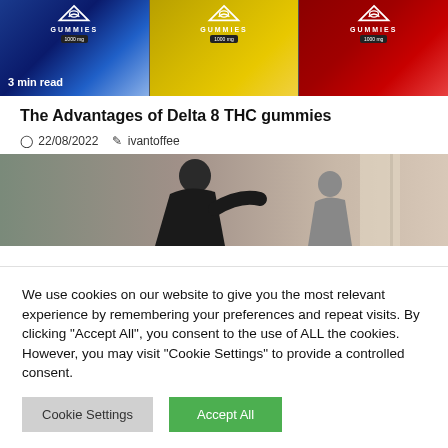[Figure (photo): Three jars of Gummies products (blue, yellow, red) with triangle logos, labeled 1000mg each. Text overlay reads '3 min read'.]
The Advantages of Delta 8 THC gummies
22/08/2022   ivantoffee
[Figure (photo): Photo of a woman exercising/doing a martial arts kick in a fitness class. A red badge in the top left reads 'HEALTH'.]
We use cookies on our website to give you the most relevant experience by remembering your preferences and repeat visits. By clicking "Accept All", you consent to the use of ALL the cookies. However, you may visit "Cookie Settings" to provide a controlled consent.